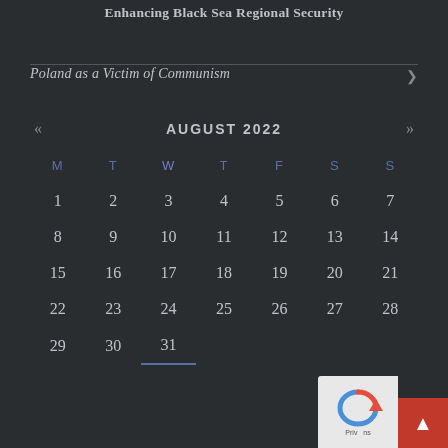Enhancing Black Sea Regional Security
Poland as a Victim of Communism
[Figure (other): August 2022 calendar with navigation arrows, day headers M T W T F S S, and dates 1-31 laid out in a grid on dark background. Date 31 is underlined in blue.]
[Figure (other): reCAPTCHA widget and red scroll-to-top button in bottom right corner]